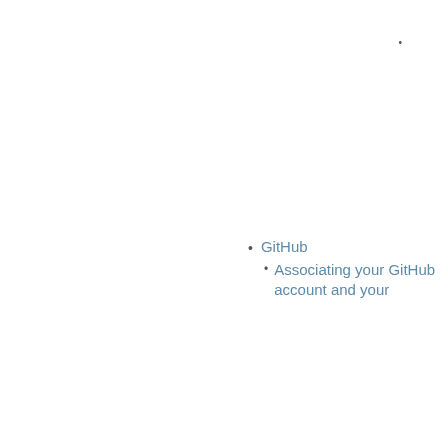•
GitHub
Associating your GitHub account and your